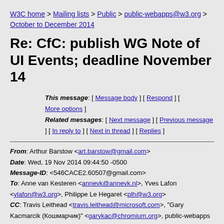W3C home > Mailing lists > Public > public-webapps@w3.org > October to December 2014
Re: CfC: publish WG Note of UI Events; deadline November 14
This message: [ Message body ] [ Respond ] [ More options ] Related messages: [ Next message ] [ Previous message ] [ In reply to ] [ Next in thread ] [ Replies ]
From: Arthur Barstow <art.barstow@gmail.com>
Date: Wed, 19 Nov 2014 09:44:50 -0500
Message-ID: <546CACE2.60507@gmail.com>
To: Anne van Kesteren <annevk@annevk.nl>, Yves Lafon <ylafon@w3.org>, Philippe Le Hegaret <plh@w3.org>
CC: Travis Leithead <travis.leithead@microsoft.com>, "Gary Kacmarcik (Кошмарчик)" <garykac@chromium.org>, public-webapps <public-webapps@w3.org>, "www-dom@w3.org" <www-dom@w3.org>